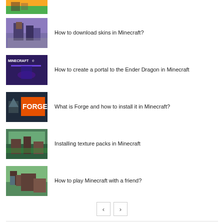[Figure (illustration): Partial thumbnail of a Minecraft scene (top of page, cropped)]
How to download skins in Minecraft?
How to create a portal to the Ender Dragon in Minecraft
What is Forge and how to install it in Minecraft?
Installing texture packs in Minecraft
How to play Minecraft with a friend?
< >  (pagination buttons)
LEAVE A REPLY